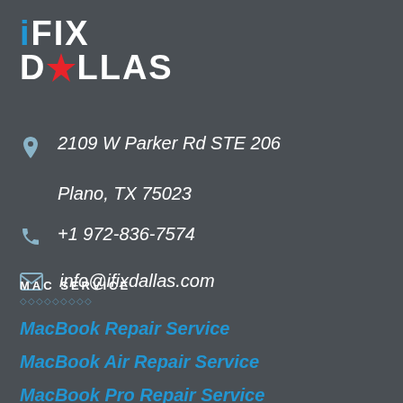[Figure (logo): iFix Dallas logo with blue 'i', white 'FIX', and 'DALLAS' text with a red star replacing the letter A]
2109 W Parker Rd STE 206
Plano, TX 75023
+1 972-836-7574
info@ifixdallas.com
MAC SERVICE
MacBook Repair Service
MacBook Air Repair Service
MacBook Pro Repair Service